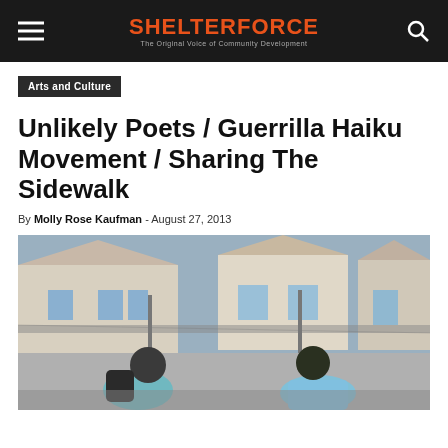SHELTERFORCE — The Original Voice of Community Development
Arts and Culture
Unlikely Poets / Guerrilla Haiku Movement / Sharing The Sidewalk
By Molly Rose Kaufman - August 27, 2013
[Figure (photo): Two young people crouching on a sidewalk or court surface, with a chain-link fence and residential houses in the background. One wears a teal/turquoise jacket with a backpack, the other wears a light blue shirt.]